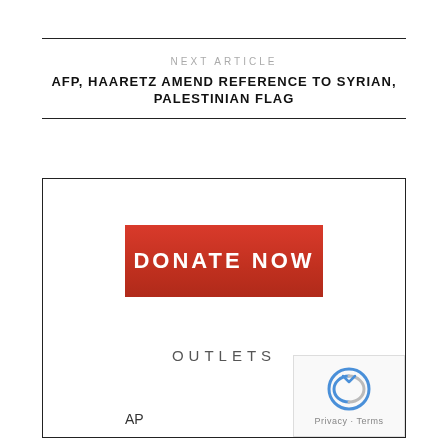NEXT ARTICLE
AFP, HAARETZ AMEND REFERENCE TO SYRIAN, PALESTINIAN FLAG
[Figure (other): Donate Now button - red rectangular button with white text]
OUTLETS
AP
[Figure (other): reCAPTCHA privacy badge with Privacy - Terms text]